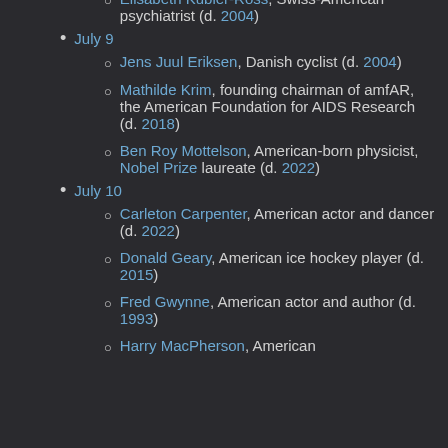Elisabeth Kubler-Ross, Swiss-American psychiatrist (d. 2004)
July 9
Jens Juul Eriksen, Danish cyclist (d. 2004)
Mathilde Krim, founding chairman of amfAR, the American Foundation for AIDS Research (d. 2018)
Ben Roy Mottelson, American-born physicist, Nobel Prize laureate (d. 2022)
July 10
Carleton Carpenter, American actor and dancer (d. 2022)
Donald Geary, American ice hockey player (d. 2015)
Fred Gwynne, American actor and author (d. 1993)
Harry MacPherson, American